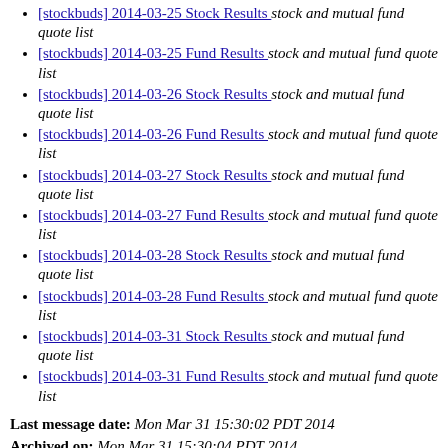[stockbuds] 2014-03-25 Stock Results  stock and mutual fund quote list
[stockbuds] 2014-03-25 Fund Results  stock and mutual fund quote list
[stockbuds] 2014-03-26 Stock Results  stock and mutual fund quote list
[stockbuds] 2014-03-26 Fund Results  stock and mutual fund quote list
[stockbuds] 2014-03-27 Stock Results  stock and mutual fund quote list
[stockbuds] 2014-03-27 Fund Results  stock and mutual fund quote list
[stockbuds] 2014-03-28 Stock Results  stock and mutual fund quote list
[stockbuds] 2014-03-28 Fund Results  stock and mutual fund quote list
[stockbuds] 2014-03-31 Stock Results  stock and mutual fund quote list
[stockbuds] 2014-03-31 Fund Results  stock and mutual fund quote list
Last message date: Mon Mar 31 15:30:02 PDT 2014
Archived on: Mon Mar 31 15:30:04 PDT 2014
Messages sorted by: [ thread ] [ subject ] [ author ]
More info about this list...